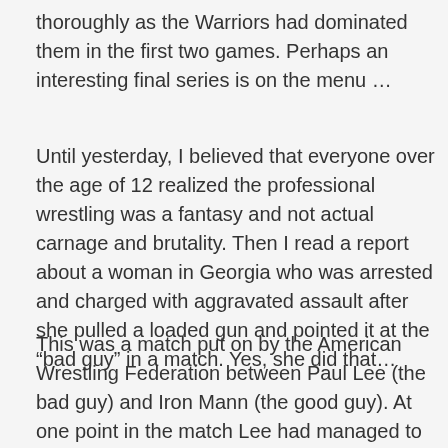thoroughly as the Warriors had dominated them in the first two games. Perhaps an interesting final series is on the menu …
Until yesterday, I believed that everyone over the age of 12 realized the professional wrestling was a fantasy and not actual carnage and brutality. Then I read a report about a woman in Georgia who was arrested and charged with aggravated assault after she pulled a loaded gun and pointed it at the “bad guy” in a match. Yes, she did that…
This was a match put on by the American Wrestling Federation between Paul Lee (the bad guy) and Iron Mann (the good guy). At one point in the match Lee had managed to tie Iron Mann up and was hitting Iron Mann with a chair. The lady in the audience had exchanged words with the bad guy during the match but at that point she had had all she could take. She